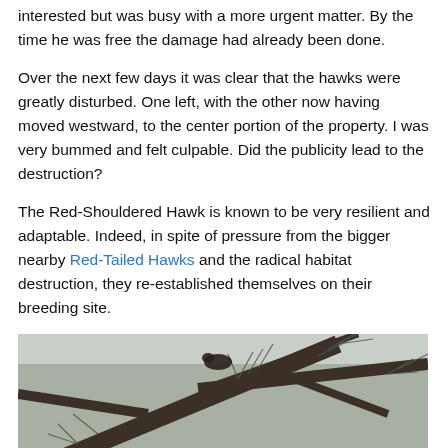interested but was busy with a more urgent matter. By the time he was free the damage had already been done.
Over the next few days it was clear that the hawks were greatly disturbed. One left, with the other now having moved westward, to the center portion of the property. I was very bummed and felt culpable. Did the publicity lead to the destruction?
The Red-Shouldered Hawk is known to be very resilient and adaptable. Indeed, in spite of pressure from the bigger nearby Red-Tailed Hawks and the radical habitat destruction, they re-established themselves on their breeding site.
[Figure (photo): Photograph of tree branches with pine needles against a grey sky, likely showing a hawk or bird in a pine tree.]